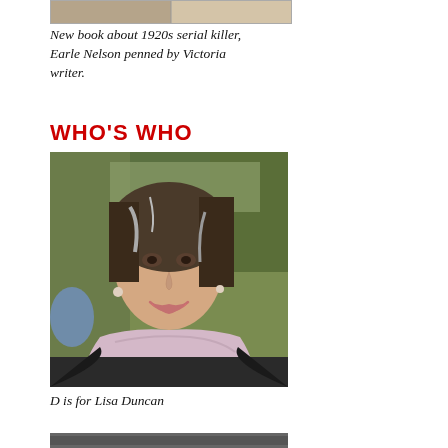[Figure (photo): Partial image visible at top of page, appears to be a document or book cover, cropped.]
New book about 1920s serial killer, Earle Nelson penned by Victoria writer.
WHO'S WHO
[Figure (photo): Portrait photo of a woman with dark hair with grey streaks, smiling, wearing a light pink/lavender scarf, outdoors with blurred green background.]
D is for Lisa Duncan
[Figure (photo): Partial image visible at bottom of page, cropped.]